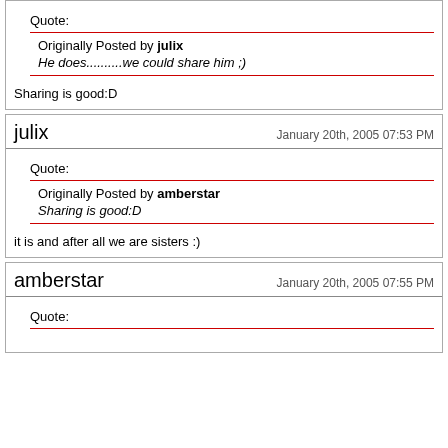Quote:
Originally Posted by julix
He does..........we could share him ;)
Sharing is good:D
julix
January 20th, 2005 07:53 PM
Quote:
Originally Posted by amberstar
Sharing is good:D
it is and after all we are sisters :)
amberstar
January 20th, 2005 07:55 PM
Quote: